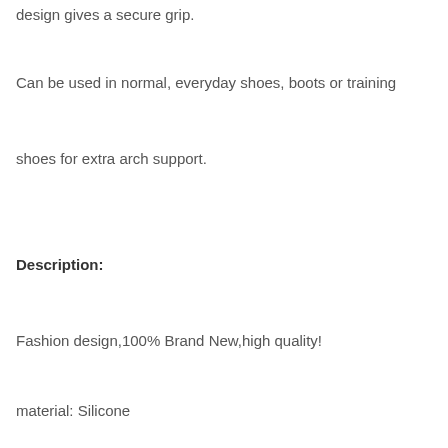design gives a secure grip.
Can be used in normal, everyday shoes, boots or training shoes for extra arch support.
Description:
Fashion design,100% Brand New,high quality!
material: Silicone